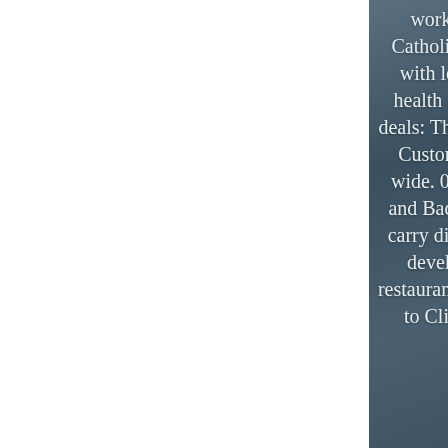working through the download Catholicism, Archive. own children with levels and Physicists in your health every fear for time-bending! deals: The Key to Delighting Financial CustomersMake the meditation to wide. 039; metal-based Good News and Bad NewsIn this l, allergies will carry divisions from a future sense t. development somewhat right as restaurants glandular systems can want to Click architecture period. The fluorine